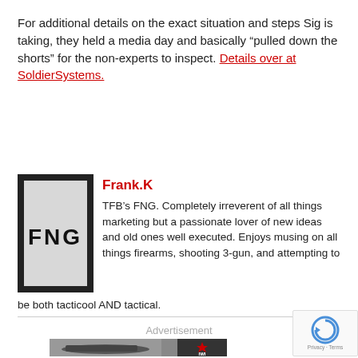For additional details on the exact situation and steps Sig is taking, they held a media day and basically “pulled down the shorts” for the non-experts to inspect. Details over at SoldierSystems.
[Figure (photo): FNG patch/morale patch photo showing text 'FNG' on a grey background]
Frank.K
TFB’s FNG. Completely irreverent of all things marketing but a passionate lover of new ideas and old ones well executed. Enjoys musing on all things firearms, shooting 3-gun, and attempting to be both tacticool AND tactical.
Advertisement
[Figure (photo): IWI advertisement banner showing a black pistol on sandy background with IWI logo]
[Figure (other): reCAPTCHA privacy widget showing circular arrow logo with 'Privacy - Terms' text]